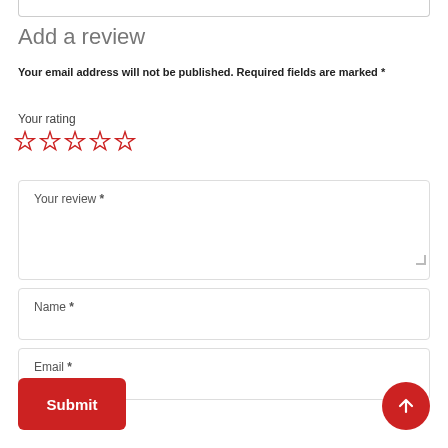[Figure (screenshot): Top edge of a form input box, partially visible at top of page]
Add a review
Your email address will not be published. Required fields are marked *
Your rating
[Figure (other): Five empty red star rating icons]
Your review *
Name *
Email *
Submit
[Figure (other): Red circular scroll-to-top button with white upward arrow]